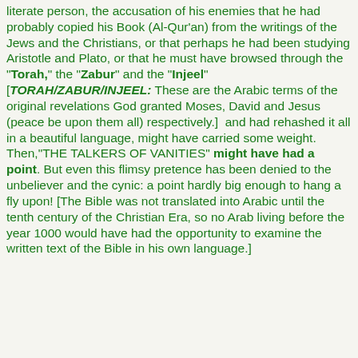literate person, the accusation of his enemies that he had probably copied his Book (Al-Qur'an) from the writings of the Jews and the Christians, or that perhaps he had been studying Aristotle and Plato, or that he must have browsed through the "Torah," the "Zabur" and the "Injeel" [TORAH/ZABUR/INJEEL: These are the Arabic terms of the original revelations God granted Moses, David and Jesus (peace be upon them all) respectively.]  and had rehashed it all in a beautiful language, might have carried some weight. Then,"THE TALKERS OF VANITIES" might have had a point. But even this flimsy pretence has been denied to the unbeliever and the cynic: a point hardly big enough to hang a fly upon! [The Bible was not translated into Arabic until the tenth century of the Christian Era, so no Arab living before the year 1000 would have had the opportunity to examine the written text of the Bible in his own language.]